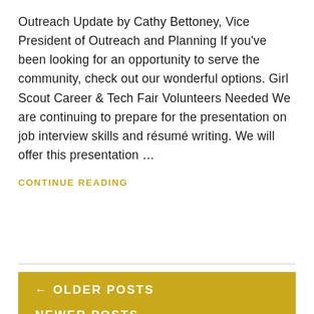Outreach Update by Cathy Bettoney, Vice President of Outreach and Planning If you've been looking for an opportunity to serve the community, check out our wonderful options. Girl Scout Career & Tech Fair Volunteers Needed We are continuing to prepare for the presentation on job interview skills and résumé writing. We will offer this presentation …
CONTINUE READING
← OLDER POSTS
NEWER POSTS →